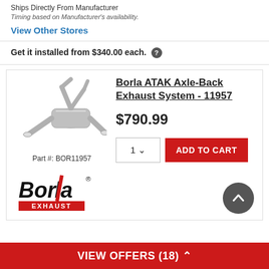Ships Directly From Manufacturer
Timing based on Manufacturer's availability.
View Other Stores
Get it installed from $340.00 each.
[Figure (photo): Borla ATAK Axle-Back Exhaust System product photo showing dual exhaust pipes and muffler in polished stainless steel]
Borla ATAK Axle-Back Exhaust System - 11957
$790.99
Part #: BOR11957
ADD TO CART
[Figure (logo): Borla Exhaust logo in black and red]
VIEW OFFERS (18)